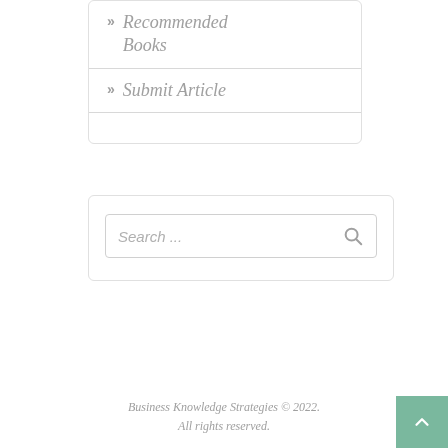>> Recommended Books
>> Submit Article
[Figure (other): Search box with placeholder text 'Search ...' and a magnifying glass icon]
Business Knowledge Strategies © 2022. All rights reserved.